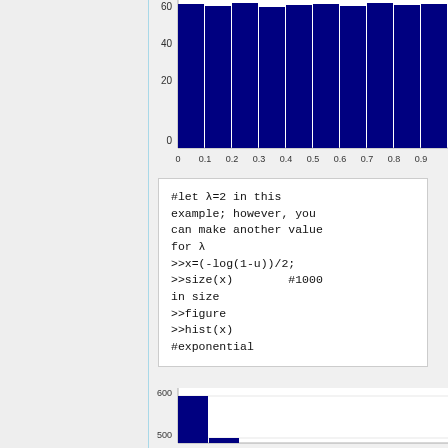[Figure (continuous-plot): Partial histogram (cropped at top) showing uniform-like distribution. Y-axis shows values 0, 20, 40, 60. X-axis shows values 0, 0.1, 0.2, 0.3, 0.4, 0.5, 0.6, 0.7, 0.8, 0.9. Bars are dark navy/blue, approximately equal height around 55-60.]
#let λ=2 in this example; however, you can make another value for λ
>>x=(-log(1-u))/2;
>>size(x)        #1000 in size
>>figure
>>hist(x)
#exponential
[Figure (continuous-plot): Partial histogram (cropped at bottom) showing exponential-like distribution. Y-axis shows values 500, 600. X-axis starts from 0. First bar is very tall (~600), bars decrease rapidly.]